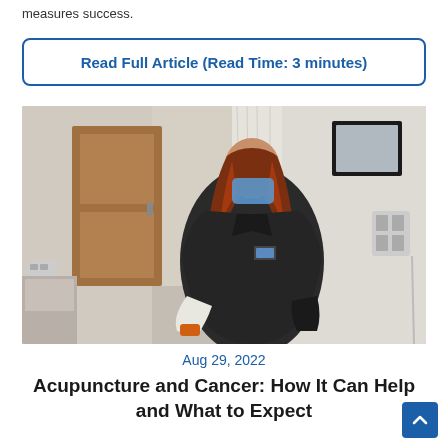measures success.
Read Full Article (Read Time: 3 minutes)
[Figure (photo): A healthcare worker wearing a blue mask, dark jacket and white gloves leans forward in a medical examination room. She has long reddish-brown hair. The room has a wooden door, curtain, wall-mounted medical equipment, and a framed mirror.]
Aug 29, 2022
Acupuncture and Cancer: How It Can Help and What to Expect
Research has shown acupuncture can treat a number of often...